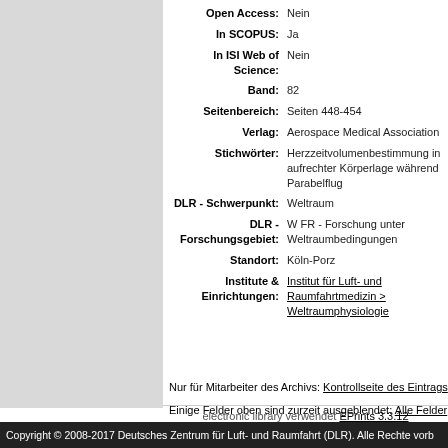| Field | Value |
| --- | --- |
| Open Access: | Nein |
| In SCOPUS: | Ja |
| In ISI Web of Science: | Nein |
| Band: | 82 |
| Seitenbereich: | Seiten 448-454 |
| Verlag: | Aerospace Medical Association |
| Stichwörter: | Herzzeitvolumenbestimmung in aufrechter Körperlage während Parabelflug |
| DLR - Schwerpunkt: | Weltraum |
| DLR - Forschungsgebiet: | W FR - Forschung unter Weltraumbedingungen |
| Standort: | Köln-Porz |
| Institute & Einrichtungen: | Institut für Luft- und Raumfahrtmedizin > Weltraumphysiologie |
Nur für Mitarbeiter des Archivs: Kontrollseite des Eintrags
Einige Felder oben sind zurzeit ausgeblendet: Alle Felder anzeigen
electronic library verwendet EPrints 3.3.12
Copyright © 2008-2017 Deutsches Zentrum für Luft- und Raumfahrt (DLR). Alle Rechte vorb